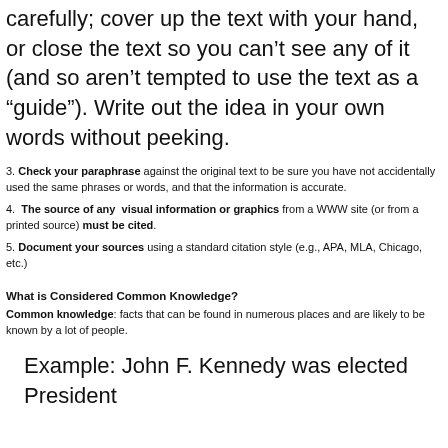carefully; cover up the text with your hand, or close the text so you can't see any of it (and so aren't tempted to use the text as a “guide”). Write out the idea in your own words without peeking.
3. Check your paraphrase against the original text to be sure you have not accidentally used the same phrases or words, and that the information is accurate.
4. The source of any visual information or graphics from a WWW site (or from a printed source) must be cited.
5. Document your sources using a standard citation style (e.g., APA, MLA, Chicago, etc.)
What is Considered Common Knowledge?
Common knowledge: facts that can be found in numerous places and are likely to be known by a lot of people.
Example: John F. Kennedy was elected President